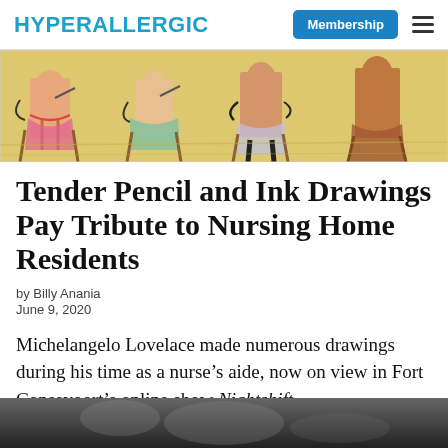HYPERALLERGIC  Membership
[Figure (illustration): Colorful pencil and ink drawings of nursing home residents seated in chairs, shown from the torso down, with warm yellow background tones]
Tender Pencil and Ink Drawings Pay Tribute to Nursing Home Residents
by Billy Anania
June 9, 2020
Michelangelo Lovelace made numerous drawings during his time as a nurse’s aide, now on view in Fort Gansevoort’s online show Nightshift.
[Figure (photo): Black and white photograph, partially visible at bottom of page]